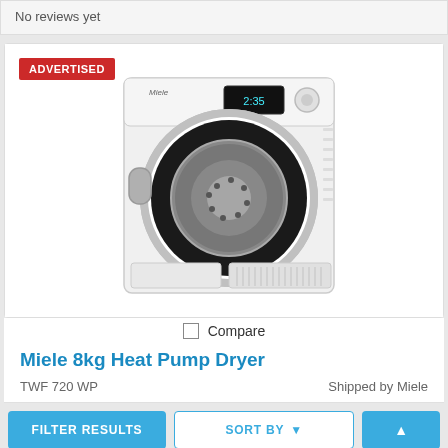No reviews yet
[Figure (photo): Miele 8kg Heat Pump Dryer product photo on white background with ADVERTISED badge]
Compare
Miele 8kg Heat Pump Dryer
TWF 720 WP
Shipped by Miele
FILTER RESULTS
SORT BY
$2000